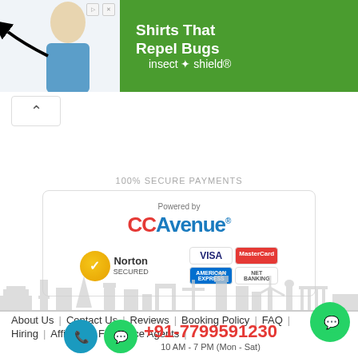[Figure (screenshot): Advertisement banner for 'Shirts That Repel Bugs' by insect shield. Green background with woman in blue shirt and arrow pointing to shirt.]
[Figure (screenshot): Four social media icons in circles: Facebook (blue), YouTube (red), Twitter (teal), Pinterest (red)]
100% SECURE PAYMENTS
[Figure (screenshot): Payment gateway box: Powered by CCAvenue. Norton Secured badge. Card logos: VISA, MasterCard, American Express, Net Banking.]
[Figure (illustration): World city skyline silhouette in light gray]
About Us | Contact Us | Reviews | Booking Policy | FAQ | Hiring | Affiliates / Freelance Agents |
+91-7799591230
10 AM - 7 PM (Mon - Sat)